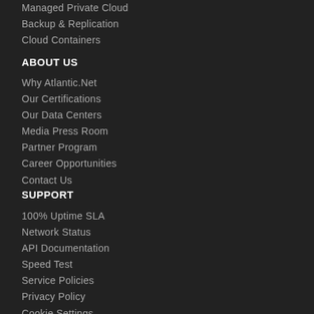Managed Private Cloud
Backup & Replication
Cloud Containers
ABOUT US
Why Atlantic.Net
Our Certifications
Our Data Centers
Media Press Room
Partner Program
Career Opportunities
Contact Us
SUPPORT
100% Uptime SLA
Network Status
API Documentation
Speed Test
Service Policies
Privacy Policy
Cookie Settings